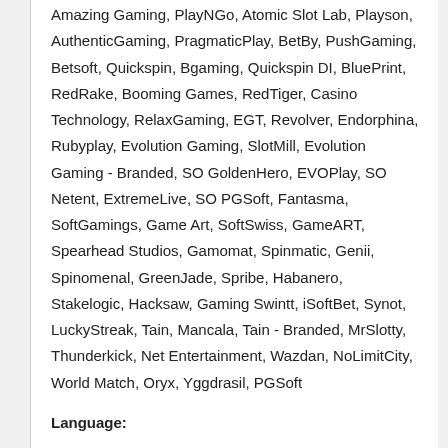Amazing Gaming, PlayNGo, Atomic Slot Lab, Playson, AuthenticGaming, PragmaticPlay, BetBy, PushGaming, Betsoft, Quickspin, Bgaming, Quickspin DI, BluePrint, RedRake, Booming Games, RedTiger, Casino Technology, RelaxGaming, EGT, Revolver, Endorphina, Rubyplay, Evolution Gaming, SlotMill, Evolution Gaming - Branded, SO GoldenHero, EVOPlay, SO Netent, ExtremeLive, SO PGSoft, Fantasma, SoftGamings, Game Art, SoftSwiss, GameART, Spearhead Studios, Gamomat, Spinmatic, Genii, Spinomenal, GreenJade, Spribe, Habanero, Stakelogic, Hacksaw, Gaming Swintt, iSoftBet, Synot, LuckyStreak, Tain, Mancala, Tain - Branded, MrSlotty, Thunderkick, Net Entertainment, Wazdan, NoLimitCity, World Match, Oryx, Yggdrasil, PGSoft
Language:
English, French, German, Spanish
Restricted Countries:
Bangladesh, China, Chile, Hong Kong, Malaysia, UK, Thailand, Vietnam, Cambodia, Mauritus, North Korea, Hungary, Sweden,